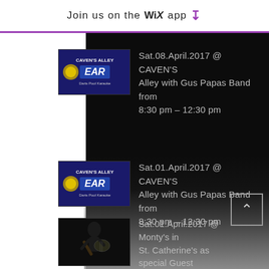Join us on the WiX app ↓
Sat.08.April.2017 @ CAVEN'S Alley with Gus Papas Band from 8:30 pm – 12:30 pm
Sat.01.April.2017 @ CAVEN'S Alley with Gus Papas Band from 8:30 pm – 12:30 pm
Sat.01.April.2017 @ Monty's in St. Catherine's as special Guest (gig 3 pm – 7 pm)